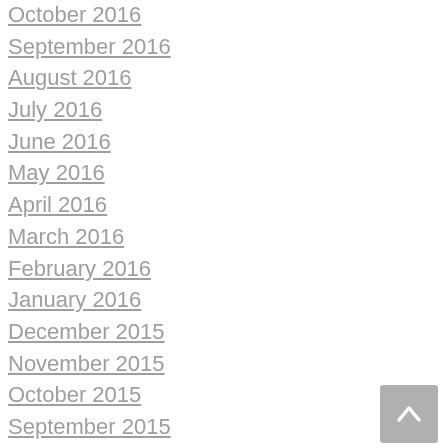October 2016
September 2016
August 2016
July 2016
June 2016
May 2016
April 2016
March 2016
February 2016
January 2016
December 2015
November 2015
October 2015
September 2015
August 2015
November 2014
October 2014
September 2014
August 2014